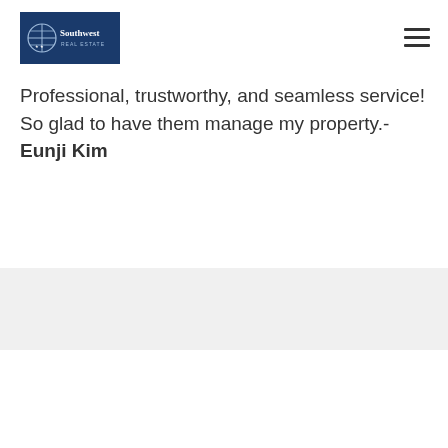[Figure (logo): Southwest Real Estate logo - small, dark blue background with globe icon and text]
Professional, trustworthy, and seamless service! So glad to have them manage my property.-Eunji Kim
[Figure (logo): Southwest Real Estate logo - large, dark blue background with globe icon and Southwest Real Estate text]